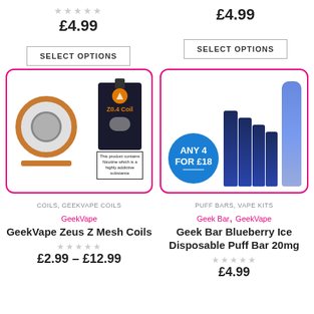★★★★★
£4.99
SELECT OPTIONS
£4.99
SELECT OPTIONS
[Figure (photo): GeekVape Z0.4 Coil product with coil hardware and box with nicotine warning]
[Figure (photo): Geek Bar Blueberry Ice Disposable Puff Bar 20mg multi-pack with blue badge 'ANY 4 FOR £18']
COILS, GEEKVAPE COILS
PUFF BARS, VAPE KITS
GeekVape
GeekVape Zeus Z Mesh Coils
★★★★★
£2.99 – £12.99
Geek Bar, GeekVape
Geek Bar Blueberry Ice Disposable Puff Bar 20mg
★★★★★
£4.99